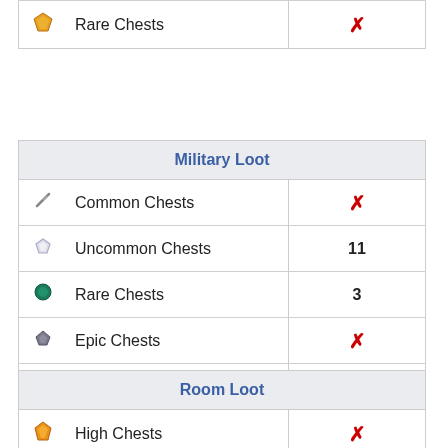| Icon | Name | Value |
| --- | --- | --- |
| 🟠 | Rare Chests | ✗ |
| Military Loot |  |  |
| --- | --- | --- |
| ⚔ | Common Chests | ✗ |
| ◇ | Uncommon Chests | 11 |
| ● | Rare Chests | 3 |
| ◆ | Epic Chests | ✗ |
| 🔨 | Mythic Chests | ✗ |
| Room Loot |  |  |
| --- | --- | --- |
| 🍊 | High Chests | ✗ |